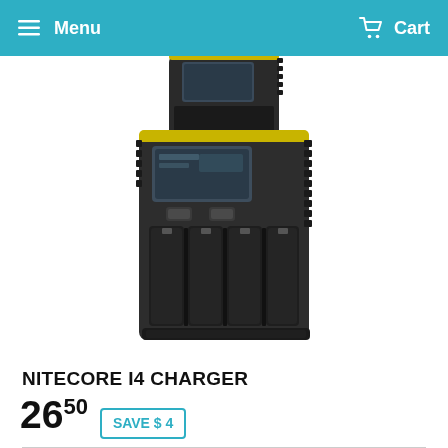Menu  Cart
[Figure (photo): Partial view of a battery charger device (top portion cut off) at the top of the page, and a full view of a Nitecore I4 four-bay battery charger with yellow accent, LCD display, and four battery slots, against a white background.]
NITECORE I4 CHARGER
26.50  SAVE $ 4
Name